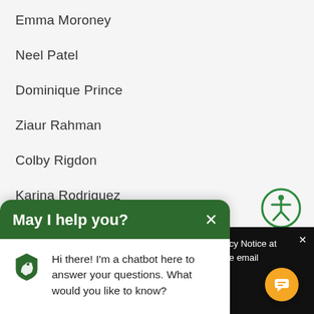Emma Moroney
Neel Patel
Dominique Prince
Ziaur Rahman
Colby Rigdon
Karina Rodriguez
Niyay Rotgers
[Figure (illustration): Green accessibility icon — person with arms and legs outstretched inside a circle]
May I help you?  Hi there! I'm a chatbot here to answer your questions. What would you like to know?
ur Privacy Notice at s, please email